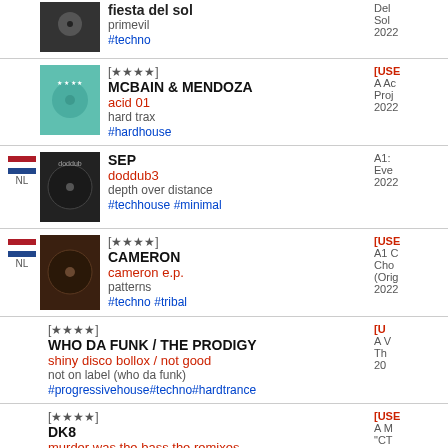fiesta del sol / primevil / #techno / Del Sol / 2022
[★★★★] MCBAIN & MENDOZA / acid 01 / hard trax / #hardhouse / [USE] A Ac / Proj / 2022
NL SEP / doddub3 / depth over distance / #techhouse #minimal / A1: / Eve / 2022
NL [★★★★] CAMERON / cameron e.p. / patterns / #techno #tribal / [USE] A1 C / Cho / (Orig / 2022
[★★★★] WHO DA FUNK / THE PRODIGY / shiny disco bollox / not good / not on label (who da funk) / #progressivehouse#techno#hardtrance / [US] A V / Th / 20
[★★★★] DK8 / murder was the bass the remixes part1 / elp / #TECHNO / [USE] A M / CT / (Tom / 2022
MR.G / the remixes ep / phoenix g / #house #deep #techhouse #techno / A1: / Add / O